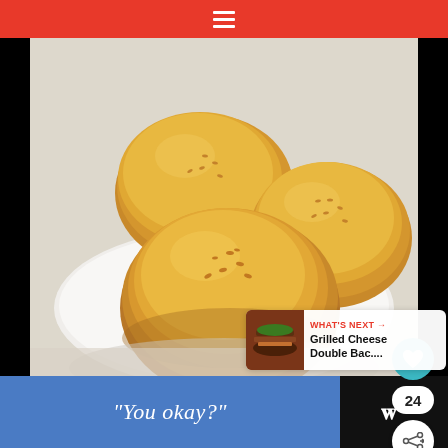Navigation menu (hamburger icon)
[Figure (photo): Three golden-brown bread rolls / buns arranged on a white round plate against a light background. The rolls have a slightly glossy, sesame-dusted top crust.]
24
WHAT'S NEXT → Grilled Cheese Double Bac....
“You okay?”
[Figure (logo): W° logo in white on dark background]